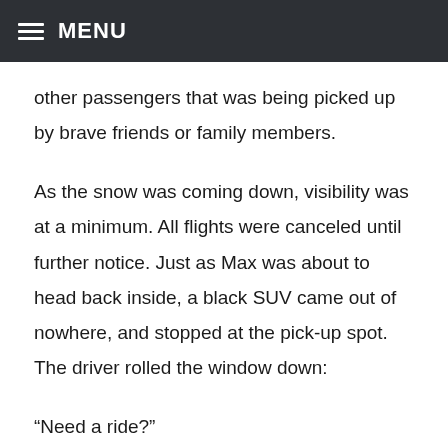MENU
other passengers that was being picked up by brave friends or family members.
As the snow was coming down, visibility was at a minimum. All flights were canceled until further notice. Just as Max was about to head back inside, a black SUV came out of nowhere, and stopped at the pick-up spot. The driver rolled the window down:
“Need a ride?”
“How did you know?” said Max, as he hopped in. “I have to get to my presentation. Are you here to pick somebody